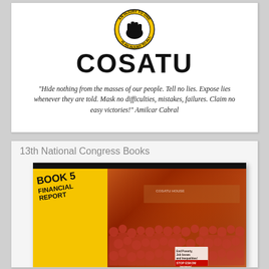[Figure (logo): COSATU logo with 'INJURY TO' arc text and fist/hands graphic in black and gold/yellow, with large bold COSATU text below]
"Hide nothing from the masses of our people. Tell no lies. Expose lies whenever they are told. Mask no difficulties, mistakes, failures. Claim no easy victories!" Amilcar Cabral
13th National Congress Books
[Figure (photo): Book 5 Financial Report cover with yellow triangle on left containing bold italic text 'BOOK 5 FINANCIAL REPORT' and a photo of a crowd of people in red shirts protesting, with a sign reading 'End Poverty, Job losses and Inequalities! STOP ESKOM increases!' and COSATU House building in background]